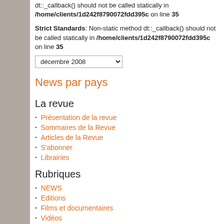dt::_callback() should not be called statically in /home/clients/1d242f8790072fdd395c on line 35
Strict Standards: Non-static method dt::_callback() should not be called statically in /home/clients/1d242f8790072fdd395c on line 35
décembre 2008 (dropdown)
News par pays
La revue
Présentation de la revue
Sommaires de la Revue
Articles de la Revue
S'abonner
Librairies
Rubriques
NEWS
Editions
Films et documentaires
Vidéos
Centre de